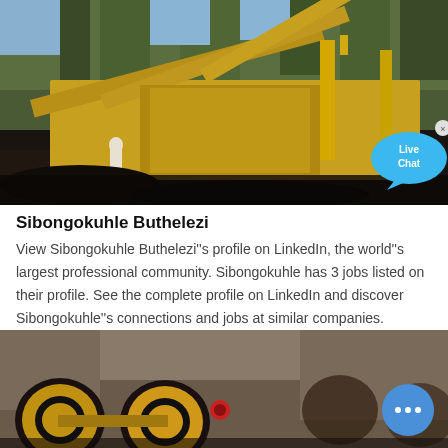[Figure (photo): Industrial mining equipment - yellow conveyor/screening machines with coal/mineral material and trees in background]
Sibongokuhle Buthelezi
View Sibongokuhle Buthelezi''s profile on LinkedIn, the world''s largest professional community. Sibongokuhle has 3 jobs listed on their profile. See the complete profile on LinkedIn and discover Sibongokuhle''s connections and jobs at similar companies.
[Figure (photo): Industrial machinery - yellow drum/roller equipment in a workshop or industrial setting]